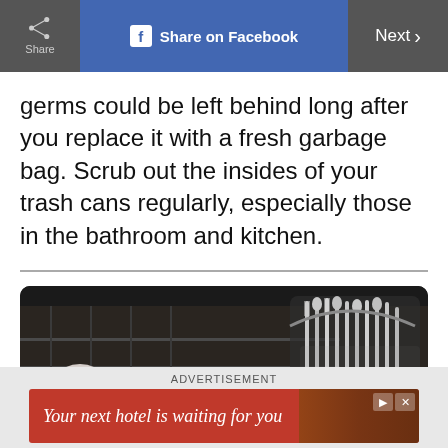Share | Share on Facebook | Next >
germs could be left behind long after you replace it with a fresh garbage bag. Scrub out the insides of your trash cans regularly, especially those in the bathroom and kitchen.
[Figure (photo): Close-up photo of dishes and silverware/cutlery in a dishwasher rack, with spoons and forks visible in a utensil basket]
ADVERTISEMENT — Your next hotel is waiting for you